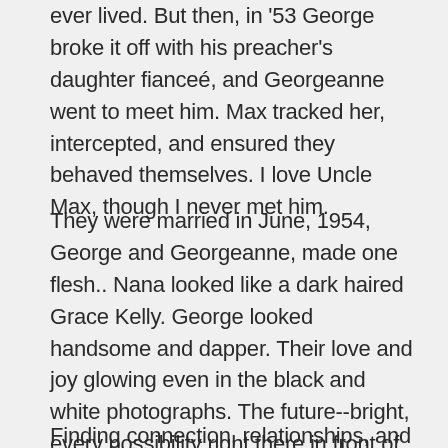ever lived. But then, in '53 George broke it off with his preacher's daughter fianceé, and Georgeanne went to meet him. Max tracked her, intercepted, and ensured they behaved themselves. I love Uncle Max, though I never met him.
They were married in June, 1954, George and Georgeanne, made one flesh.. Nana looked like a dark haired Grace Kelly. George looked handsome and dapper. Their love and joy glowing even in the black and white photographs. The future--bright, every possibility right there in front of them. It feels revelatory to look at the pictures, knowing how their love story was paused right in the middle.
Finding connection, relationships, and t...